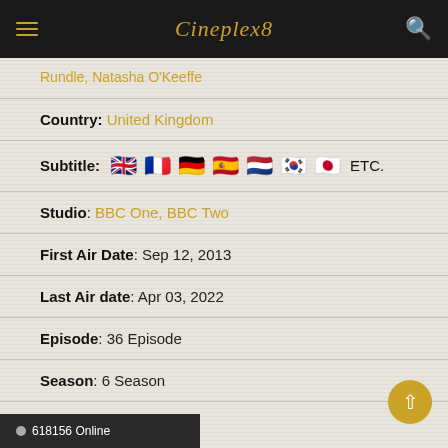Cineplex8
Rundle, Natasha O'Keeffe
Country: United Kingdom
Subtitle: 🇬🇧 🇫🇷 🇩🇪 🇪🇸 🇳🇱 🇰🇷 🇯🇵 ETC.
Studio: BBC One, BBC Two
First Air Date: Sep 12, 2013
Last Air date: Apr 03, 2022
Episode: 36 Episode
Season: 6 Season
Season
Peaky Blinders Season 0
618156 Online